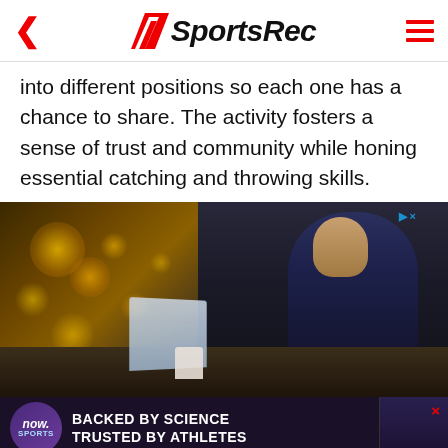SportsRec
into different positions so each one has a chance to share. The activity fosters a sense of trust and community while honing essential catching and throwing skills.
[Figure (photo): Man in suit working on laptop at desk with bokeh lights in background]
[Figure (infographic): Advertisement banner: now SPORTS logo with text BACKED BY SCIENCE TRUSTED BY ATHLETES and football helmet graphic]
Ma